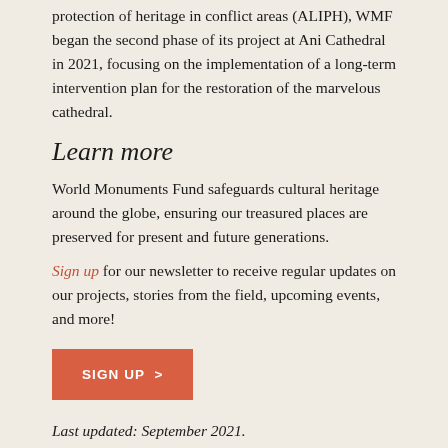protection of heritage in conflict areas (ALIPH), WMF began the second phase of its project at Ani Cathedral in 2021, focusing on the implementation of a long-term intervention plan for the restoration of the marvelous cathedral.
Learn more
World Monuments Fund safeguards cultural heritage around the globe, ensuring our treasured places are preserved for present and future generations.
Sign up for our newsletter to receive regular updates on our projects, stories from the field, upcoming events, and more!
SIGN UP >
Last updated: September 2021.